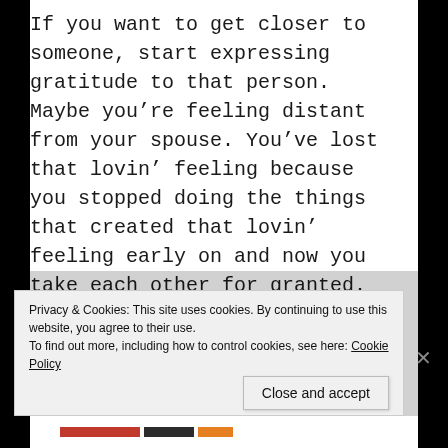If you want to get closer to someone, start expressing gratitude to that person. Maybe you're feeling distant from your spouse. You've lost that lovin' feeling because you stopped doing the things that created that lovin' feeling early on and now you take each other for granted. Start doing what you did when you were dating: Express gratitude. Write little notes of kindness and encouragement. Call or text during the day, just to tell your spouse that you're thankful for them.
Do you want to build your small group? Don't just
Privacy & Cookies: This site uses cookies. By continuing to use this website, you agree to their use.
To find out more, including how to control cookies, see here: Cookie Policy
Close and accept